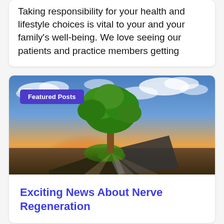Taking responsibility for your health and lifestyle choices is vital to your and your family's well-being. We love seeing our patients and practice members getting
[Figure (photo): A surreal illustration of an open book lying on a field, with a large glowing tree growing out of the pages against a dramatic sunset and cloudy sky. A purple 'Featured Posts' badge is overlaid in the top-left corner.]
Exciting News About Nerve Regeneration